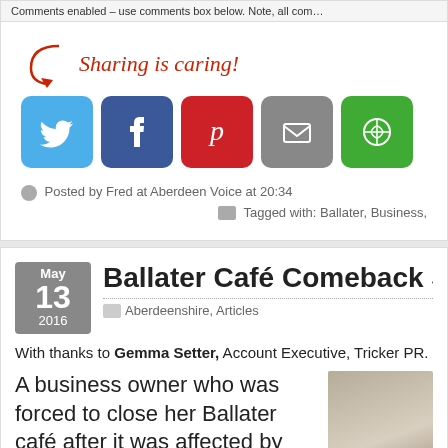Comments enabled – use comments box below. Note, all com…
Sharing is caring!
[Figure (infographic): Social sharing buttons: Twitter (blue), Facebook (dark blue), Pinterest (red), Email (grey), AddThis (green)]
Posted by Fred at Aberdeen Voice at 20:34
Tagged with: Ballater, Business,
May 13 2016
Ballater Café Comeback Serves U
Aberdeenshire, Articles
With thanks to Gemma Setter, Account Executive, Tricker PR.
A business owner who was forced to close her Ballater café after it was affected by flooding has taken the opportunity to improve access for